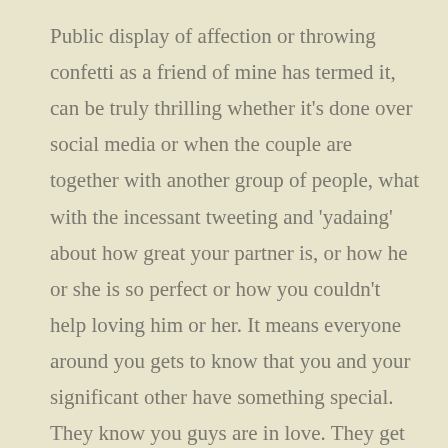Public display of affection or throwing confetti as a friend of mine has termed it, can be truly thrilling whether it's done over social media or when the couple are together with another group of people, what with the incessant tweeting and 'yadaing' about how great your partner is, or how he or she is so perfect or how you couldn't help loving him or her. It means everyone around you gets to know that you and your significant other have something special. They know you guys are in love. They get to share in your joys and your triumphs. They get to witness firsthand how happy you guys are or how good you two are together. You get to be the butt of a lot of good-natured ribbing. You look like the perfect, idyllic couple. It's great, really great. It adds